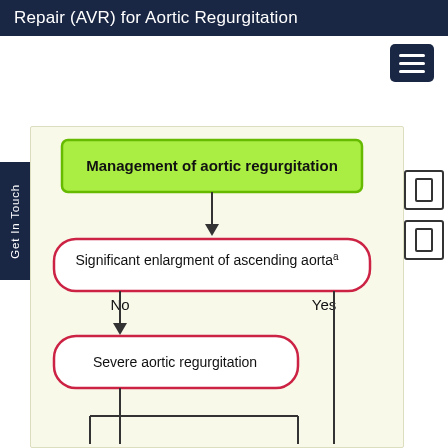Repair (AVR) for Aortic Regurgitation
[Figure (flowchart): Flowchart for Management of aortic regurgitation. Starts with green box 'Management of aortic regurgitation', arrow down to rounded rectangle 'Significant enlargment of ascending aorta^a'. Two branches: No (left, arrow down) leads to 'Severe aortic regurgitation' rounded rectangle; Yes (right) leads off page. From 'Severe aortic regurgitation', arrow down splits into two branches at bottom.]